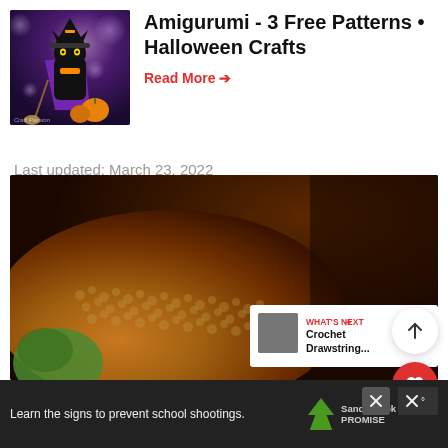[Figure (photo): Black cat dressed as a witch with purple cape, hat, and orange pumpkins, bokeh background]
Amigurumi - 3 Free Patterns • Halloween Crafts
Read More →
Last updated: March 23, 2022
[Figure (photo): Close-up photo of orange crocheted amigurumi texture with brown background and green object at bottom left]
WHAT'S NEXT → Crochet Drawstring...
Learn the signs to prevent school shootings. Sandy Hook Promise